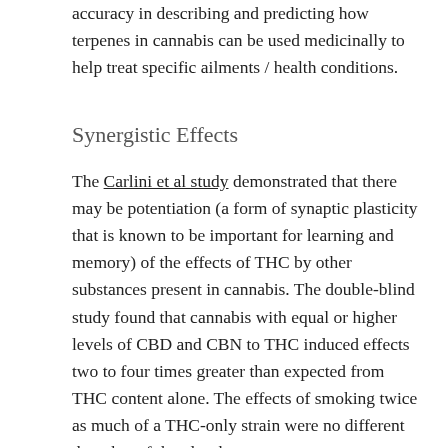accuracy in describing and predicting how terpenes in cannabis can be used medicinally to help treat specific ailments / health conditions.
Synergistic Effects
The Carlini et al study demonstrated that there may be potentiation (a form of synaptic plasticity that is known to be important for learning and memory) of the effects of THC by other substances present in cannabis. The double-blind study found that cannabis with equal or higher levels of CBD and CBN to THC induced effects two to four times greater than expected from THC content alone. The effects of smoking twice as much of a THC-only strain were no different than that of the placebo.
This suggestion was reinforced by a study done by